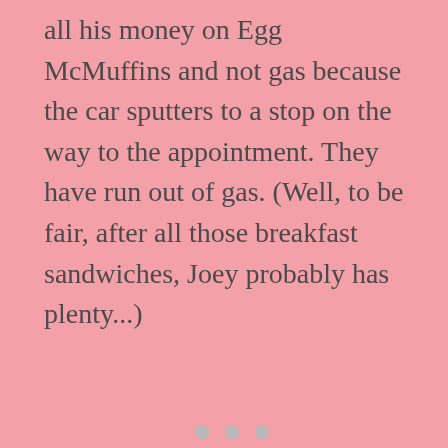all his money on Egg McMuffins and not gas because the car sputters to a stop on the way to the appointment. They have run out of gas. (Well, to be fair, after all those breakfast sandwiches, Joey probably has plenty...)
[Figure (other): A light gray/white card or content block with three horizontal dots/ellipsis indicator at the center bottom, suggesting a loading state or placeholder.]